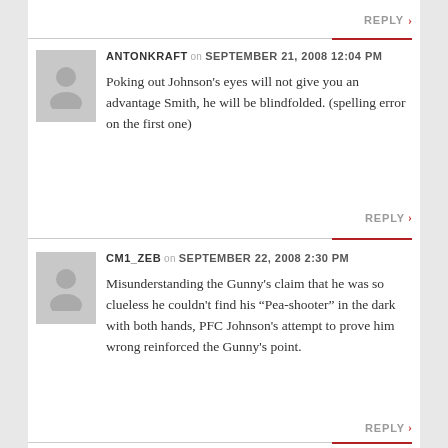REPLY >
ANTONKRAFT on SEPTEMBER 21, 2008 12:04 PM
Poking out Johnson's eyes will not give you an advantage Smith, he will be blindfolded. (spelling error on the first one)
REPLY >
CM1_ZEB on SEPTEMBER 22, 2008 2:30 PM
Misunderstanding the Gunny's claim that he was so clueless he couldn't find his “Pea-shooter” in the dark with both hands, PFC Johnson's attempt to prove him wrong reinforced the Gunny's point.
REPLY >